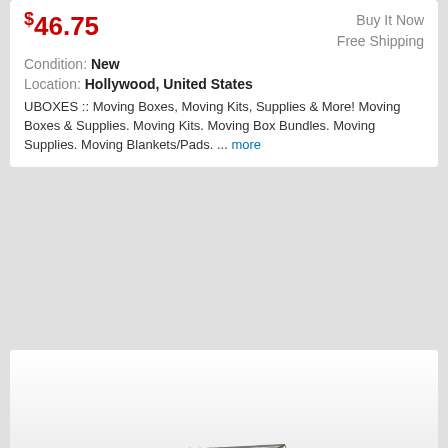$46.75
Buy It Now
Free Shipping
Condition: New
Location: Hollywood, United States
UBOXES :: Moving Boxes, Moving Kits, Supplies & More! Moving Boxes & Supplies. Moving Kits. Moving Box Bundles. Moving Supplies. Moving Blankets/Pads. ... more
[Figure (photo): Open white corrugated cardboard mailer box with lid raised, showing brown interior, on gradient gray background. Text overlay reads: 50 Pack 4x3x2 Small White Cardboard Carton Mailer Mailing Shipping Box Boxes]